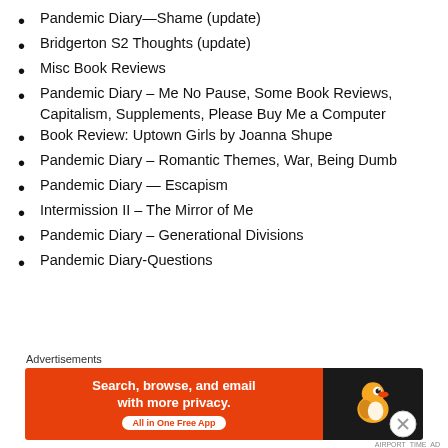Pandemic Diary—Shame (update)
Bridgerton S2 Thoughts (update)
Misc Book Reviews
Pandemic Diary – Me No Pause, Some Book Reviews, Capitalism, Supplements, Please Buy Me a Computer
Book Review: Uptown Girls by Joanna Shupe
Pandemic Diary – Romantic Themes, War, Being Dumb
Pandemic Diary — Escapism
Intermission II – The Mirror of Me
Pandemic Diary – Generational Divisions
Pandemic Diary-Questions
Authors
[Figure (advertisement): DuckDuckGo advertisement banner: orange left side with text 'Search, browse, and email with more privacy. All in One Free App', black right side with DuckDuckGo duck logo.]